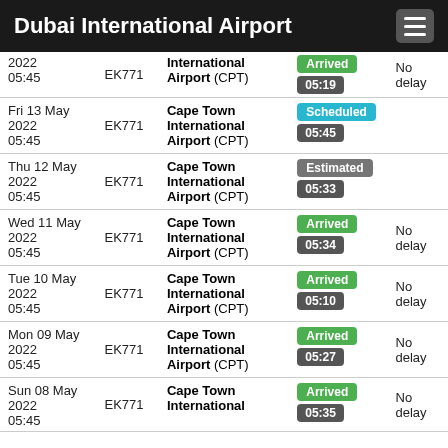Dubai International Airport
| Date | Flight | Destination | Status | Delay |
| --- | --- | --- | --- | --- |
| 2022 05:45 | EK771 | International Airport (CPT) | Arrived 05:19 | No delay |
| Fri 13 May 2022 05:45 | EK771 | Cape Town International Airport (CPT) | Scheduled 05:45 |  |
| Thu 12 May 2022 05:45 | EK771 | Cape Town International Airport (CPT) | Estimated 05:33 |  |
| Wed 11 May 2022 05:45 | EK771 | Cape Town International Airport (CPT) | Arrived 05:34 | No delay |
| Tue 10 May 2022 05:45 | EK771 | Cape Town International Airport (CPT) | Arrived 05:10 | No delay |
| Mon 09 May 2022 05:45 | EK771 | Cape Town International Airport (CPT) | Arrived 05:27 | No delay |
| Sun 08 May 2022 05:45 | EK771 | Cape Town International Airport (CPT) | Arrived 05:35 | No delay |